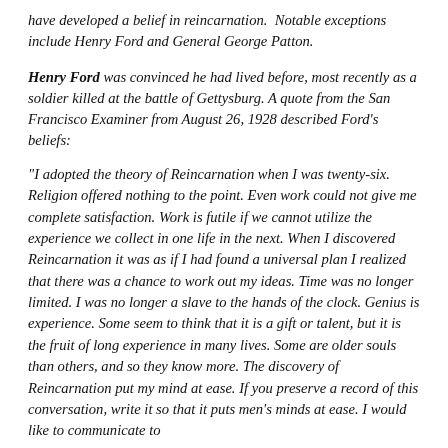have developed a belief in reincarnation. Notable exceptions include Henry Ford and General George Patton.
Henry Ford was convinced he had lived before, most recently as a soldier killed at the battle of Gettysburg. A quote from the San Francisco Examiner from August 26, 1928 described Ford's beliefs:
"I adopted the theory of Reincarnation when I was twenty-six. Religion offered nothing to the point. Even work could not give me complete satisfaction. Work is futile if we cannot utilize the experience we collect in one life in the next. When I discovered Reincarnation it was as if I had found a universal plan I realized that there was a chance to work out my ideas. Time was no longer limited. I was no longer a slave to the hands of the clock. Genius is experience. Some seem to think that it is a gift or talent, but it is the fruit of long experience in many lives. Some are older souls than others, and so they know more. The discovery of Reincarnation put my mind at ease. If you preserve a record of this conversation, write it so that it puts men's minds at ease. I would like to communicate to